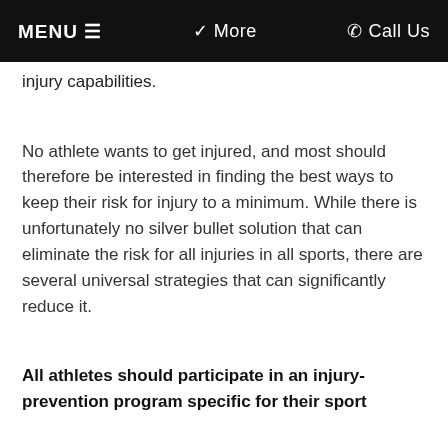MENU ≡   ❯ More   ✆ Call Us
injury capabilities.
No athlete wants to get injured, and most should therefore be interested in finding the best ways to keep their risk for injury to a minimum. While there is unfortunately no silver bullet solution that can eliminate the risk for all injuries in all sports, there are several universal strategies that can significantly reduce it.
All athletes should participate in an injury-prevention program specific for their sport